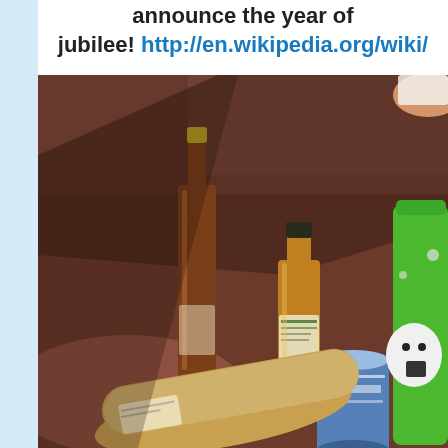announce the year of jubilee! http://en.wikipedia.org/wiki/
[Figure (photo): Photograph taken on a red/brown tiled ground showing a tall wine bottle (brownish glass, gold cap), a smaller amber bottle with a dark cap and label, a short blue cylindrical can, a wrapped loaf of bread in plastic packaging lying on its side, and a green cartoon character bag/box on the right side. A person's hand is visible at the top right corner holding something white.]